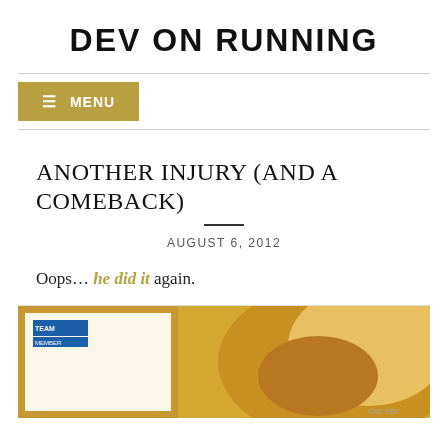DEV ON RUNNING
≡ MENU
ANOTHER INJURY (AND A COMEBACK)
AUGUST 6, 2012
Oops… he did it again.
[Figure (photo): Photo showing a framed document or certificate with a blue badge/logo on the left side, and a warm-toned curved object on the right side]